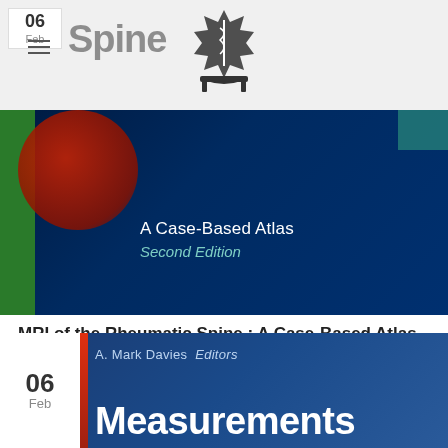06 Feb | Spine
[Figure (photo): Book cover of MRI of the Rheumatic Spine: A Case-Based Atlas, Second Edition. Dark blue background with green bar on left, red abstract shapes, and teal accent. Text reads 'A Case-Based Atlas' and 'Second Edition' in teal italic.]
MRI of the Rheumatic Spine : A Case-Based Atlas
Paola D'Aprile, Alfredo Tarantino Inflammatory pathology of the spine is an underestimated, but widespread condition[...]
[Figure (photo): Book cover showing 'A. Mark Davies  Editors' and large white text 'Measurements' on dark blue gradient background, with a date badge showing '06 Feb' on the left side.]